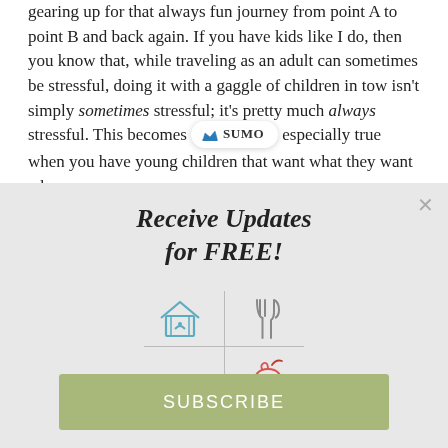gearing up for that always fun journey from point A to point B and back again. If you have kids like I do, then you know that, while traveling as an adult can sometimes be stressful, doing it with a gaggle of children in tow isn't simply sometimes stressful; it's pretty much always stressful. This becomes especially true when you have young children that want what they want when
[Figure (infographic): Sumo popup modal with 'Receive Updates for FREE!' heading, four lifestyle icons arranged in a 2x2 grid (house with heart, fork and knife, dumbbell, apple), and a green SUBSCRIBE button]